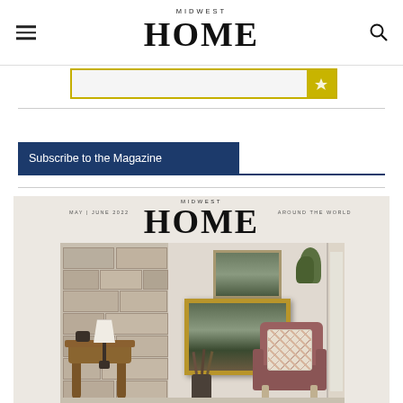MIDWEST HOME
[Figure (other): Advertisement banner with olive/gold border and badge]
Subscribe to the Magazine
[Figure (photo): Midwest Home magazine cover May/June 2022 showing a living room with stone fireplace, antique furniture, lamp, paintings, umbrella stand, and floral armchair]